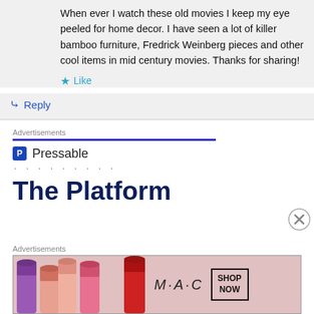When ever I watch these old movies I keep my eye peeled for home decor. I have seen a lot of killer bamboo furniture, Fredrick Weinberg pieces and other cool items in mid century movies. Thanks for sharing!
Like
Reply
Advertisements
[Figure (logo): Pressable logo with P icon and dotted line below]
The Platform
Advertisements
[Figure (photo): M·A·C cosmetics advertisement showing colorful lipsticks with SHOP NOW button]